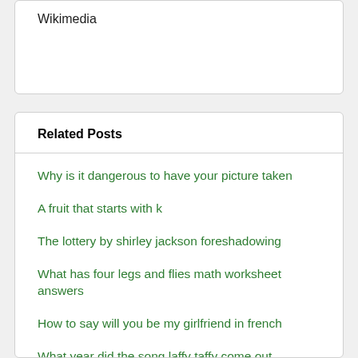Wikimedia
Related Posts
Why is it dangerous to have your picture taken
A fruit that starts with k
The lottery by shirley jackson foreshadowing
What has four legs and flies math worksheet answers
How to say will you be my girlfriend in french
What year did the song laffy taffy come out
Why do bats fly in circles